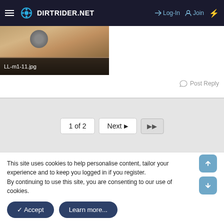DIRTRIDER.NET — Log-In — Join
[Figure (photo): Partial dirt bike / motocross scene photo with caption label LL-m1-11.jpg]
Post Reply
1 of 2  Next  ▶▶
Write your reply...
This site uses cookies to help personalise content, tailor your experience and to keep you logged in if you register.
By continuing to use this site, you are consenting to our use of cookies.
✓ Accept   Learn more...